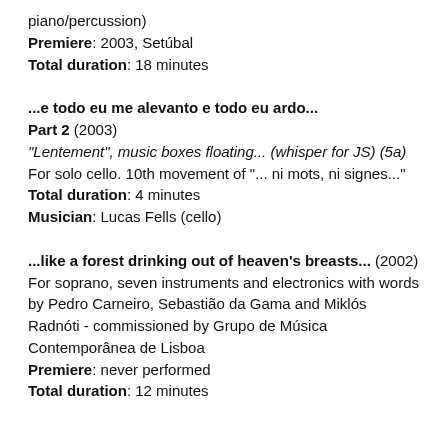piano/percussion)
Premiere: 2003, Setúbal
Total duration: 18 minutes
...e todo eu me alevanto e todo eu ardo... Part 2 (2003)
“Lentement”, music boxes floating... (whisper for JS) (5a)
For solo cello. 10th movement of “... ni mots, ni signes...”
Total duration: 4 minutes
Musician: Lucas Fells (cello)
...like a forest drinking out of heaven’s breasts... (2002)
For soprano, seven instruments and electronics with words by Pedro Carneiro, Sebastião da Gama and Miklós Radnóti - commissioned by Grupo de Música Contemporânea de Lisboa
Premiere: never performed
Total duration: 12 minutes